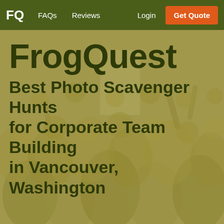FQ  FAQs  Reviews  Login  Get Quote
FrogQuest
Best Photo Scavenger Hunts for Corporate Team Building in Vancouver, Washington
[Figure (photo): Background photo of a large crowd of smiling people, dimmed with an olive/yellow-green tint overlay]